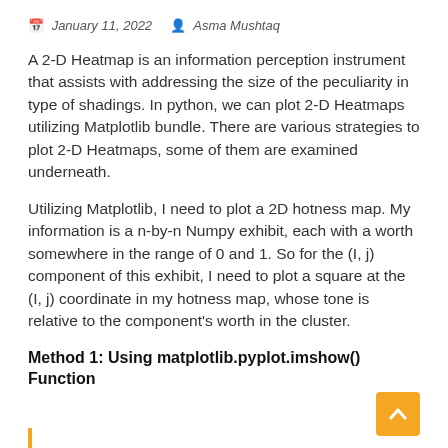January 11, 2022  Asma Mushtaq
A 2-D Heatmap is an information perception instrument that assists with addressing the size of the peculiarity in type of shadings. In python, we can plot 2-D Heatmaps utilizing Matplotlib bundle. There are various strategies to plot 2-D Heatmaps, some of them are examined underneath.
Utilizing Matplotlib, I need to plot a 2D hotness map. My information is a n-by-n Numpy exhibit, each with a worth somewhere in the range of 0 and 1. So for the (I, j) component of this exhibit, I need to plot a square at the (I, j) coordinate in my hotness map, whose tone is relative to the component’s worth in the cluster.
Method 1: Using matplotlib.pyplot.imshow() Function